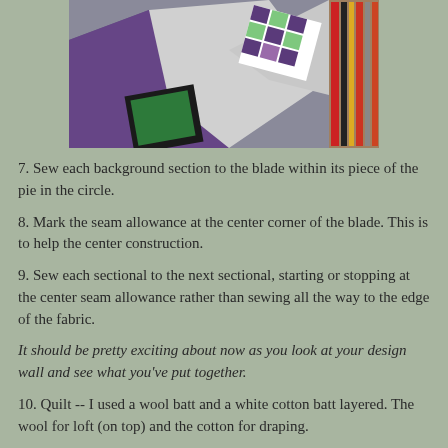[Figure (photo): Photo of quilt blocks with purple fabric, white background, and a patchwork design with green and purple squares, placed on a design wall with books visible on the right side.]
7. Sew each background section to the blade within its piece of the pie in the circle.
8. Mark the seam allowance at the center corner of the blade. This is to help the center construction.
9. Sew each sectional to the next sectional, starting or stopping at the center seam allowance rather than sewing all the way to the edge of the fabric.
It should be pretty exciting about now as you look at your design wall and see what you’ve put together.
10. Quilt -- I used a wool batt and a white cotton batt layered. The wool for loft (on top) and the cotton for draping.